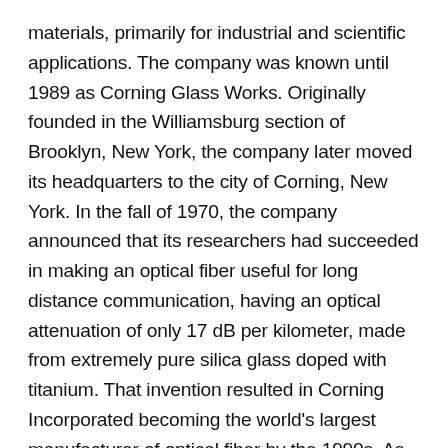materials, primarily for industrial and scientific applications. The company was known until 1989 as Corning Glass Works. Originally founded in the Williamsburg section of Brooklyn, New York, the company later moved its headquarters to the city of Corning, New York. In the fall of 1970, the company announced that its researchers had succeeded in making an optical fiber useful for long distance communication, having an optical attenuation of only 17 dB per kilometer, made from extremely pure silica glass doped with titanium. That invention resulted in Corning Incorporated becoming the world's largest manufacturer of optical fiber by the 1990s. As of 2004, Corning Incorporated is the world's dominant manufacturer of glass for liquid crystal displays in notebook and desktop computers and LCD televisions. The company continues to produce optical fiber and cable for communications, but at a